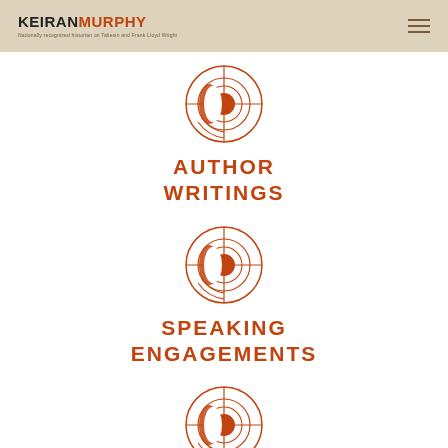KEIRAN MURPHY — Nationally recognized historian on Taliesin and Frank Lloyd Wright
[Figure (logo): Circular geometric compass-rose style logo icon in brown/orange]
AUTHOR WRITINGS
[Figure (logo): Circular geometric compass-rose style logo icon in brown/orange]
SPEAKING ENGAGEMENTS
[Figure (logo): Circular geometric compass-rose style logo icon in brown/orange]